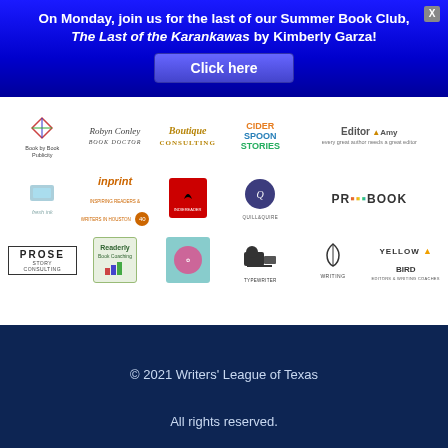On Monday, join us for the last of our Summer Book Club, The Last of the Karankawas by Kimberly Garza!
Click here
[Figure (logo): Grid of publishing and writing service logos including Book by Book Publicity, Robyn Conley Book Doctor, Boutique Consulting, Cider Spoon Stories, Editor Amy, fresh ink, nprint, indiereader, Quill & Quire, PR Bookclub, PROSE Story Consulting, Readerly Book Coaching, pink flower logo, The Typewriter, Writing logo, Yellow Bird Editors & Writing Coaches]
© 2021 Writers' League of Texas
All rights reserved.